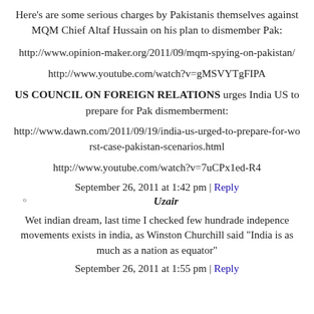Here's are some serious charges by Pakistanis themselves against MQM Chief Altaf Hussain on his plan to dismember Pak:
http://www.opinion-maker.org/2011/09/mqm-spying-on-pakistan/
http://www.youtube.com/watch?v=gMSVYTgFIPA
US COUNCIL ON FOREIGN RELATIONS urges India US to prepare for Pak dismemberment:
http://www.dawn.com/2011/09/19/india-us-urged-to-prepare-for-worst-case-pakistan-scenarios.html
http://www.youtube.com/watch?v=7uCPx1ed-R4
September 26, 2011 at 1:42 pm | Reply
Uzair
Wet indian dream, last time I checked few hundrade indepence movements exists in india, as Winston Churchill said "India is as much as a nation as equator"
September 26, 2011 at 1:55 pm | Reply